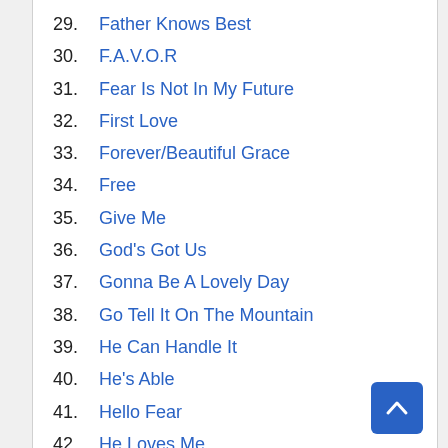29. Father Knows Best
30. F.A.V.O.R
31. Fear Is Not In My Future
32. First Love
33. Forever/Beautiful Grace
34. Free
35. Give Me
36. God's Got Us
37. Gonna Be A Lovely Day
38. Go Tell It On The Mountain
39. He Can Handle It
40. He's Able
41. Hello Fear
42. He Loves Me
43. Help Me Believe
44. He Reigns/Awsome God
45. Here